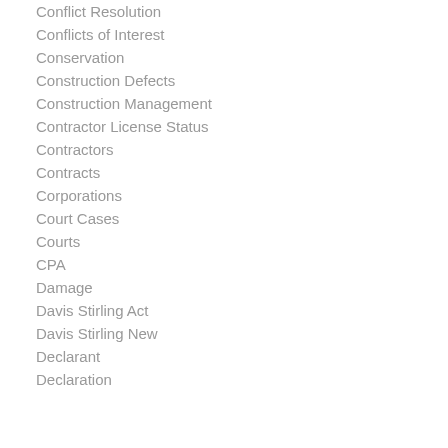Conflict Resolution
Conflicts of Interest
Conservation
Construction Defects
Construction Management
Contractor License Status
Contractors
Contracts
Corporations
Court Cases
Courts
CPA
Damage
Davis Stirling Act
Davis Stirling New
Declarant
Declaration